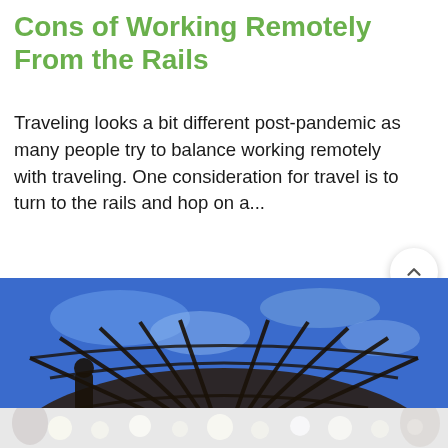Cons of Working Remotely From the Rails
Traveling looks a bit different post-pandemic as many people try to balance working remotely with traveling. One consideration for travel is to turn to the rails and hop on a...
[Figure (photo): View looking up through a domed glass and steel structure of a train station with blue sky visible, overlaid with UI buttons including a heart/like button showing 1,456 and a green search button.]
[Figure (photo): Partial bottom image showing a blurred train platform scene with bokeh lights.]